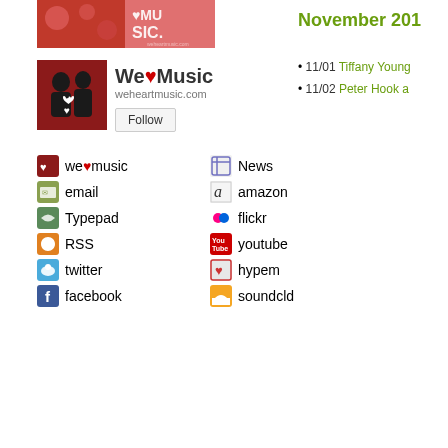[Figure (photo): We Heart Music banner image - red background with hearts and music text]
[Figure (photo): We Heart Music profile avatar - black silhouette of couple with heart]
We♥Music
weheartmusic.com
Follow
we♥music
email
Typepad
RSS
twitter
facebook
News
amazon
flickr
youtube
hypem
soundcld
November 201
11/01 Tiffany Young
11/02 Peter Hook a